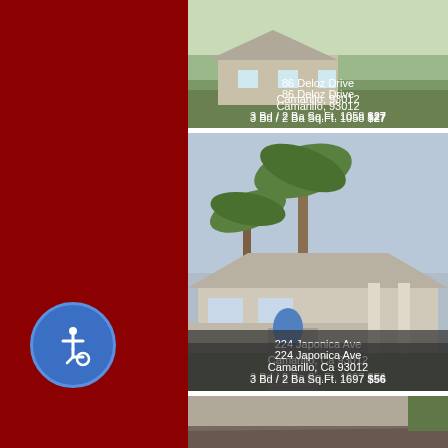[Figure (photo): Photo of a house at 86 Deloz Drive, Camarillo 93012. 3 Bd / 2 Ba Sq.Ft. 1058. Price partially visible starting with $27...]
86 Deloz Drive
Camarillo, 93012
3 Bd / 2 Ba Sq.Ft. 1058 $27...
[Figure (photo): Photo of a house at 224 Japonica Ave, Camarillo, Ca 93012. 3 Bd / 2 Ba Sq.Ft. 1697. Price partially visible starting with $56...]
224 Japonica Ave
Camarillo, Ca 93012
3 Bd / 2 Ba Sq.Ft. 1697 $56...
[Figure (photo): Partial photo of a third house listing, partially visible at bottom of page.]
[Figure (illustration): Accessibility (wheelchair) icon button — blue circle with white wheelchair symbol.]